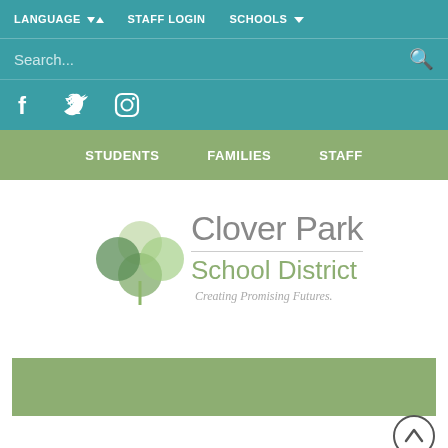LANGUAGE  STAFF LOGIN  SCHOOLS
Search...
Facebook  Twitter  Instagram
STUDENTS  FAMILIES  STAFF
[Figure (logo): Clover Park School District logo with green clover leaf icon and text 'Clover Park School District - Creating Promising Futures.']
[Figure (other): Green banner bar]
[Figure (other): Scroll to top circular button with upward arrow]